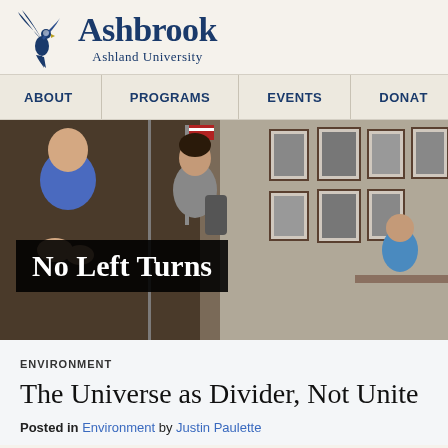[Figure (logo): Ashbrook at Ashland University logo with eagle]
ABOUT   PROGRAMS   EVENTS   DONATE
[Figure (photo): People talking in a classroom or library setting with framed pictures on the wall, with overlay text 'No Left Turns']
ENVIRONMENT
The Universe as Divider, Not Unite
Posted in Environment by Justin Paulette